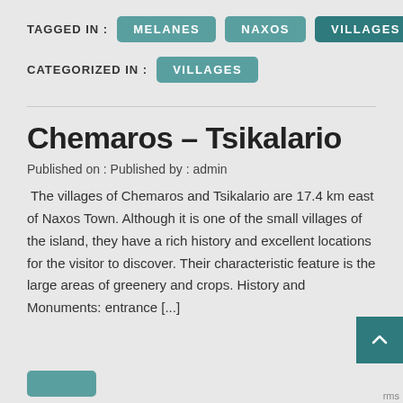TAGGED IN :
MELANES
NAXOS
VILLAGES
CATEGORIZED IN :
VILLAGES
Chemaros – Tsikalario
Published on : Published by : admin
The villages of Chemaros and Tsikalario are 17.4 km east of Naxos Town. Although it is one of the small villages of the island, they have a rich history and excellent locations for the visitor to discover. Their characteristic feature is the large areas of greenery and crops. History and Monuments: entrance [...]